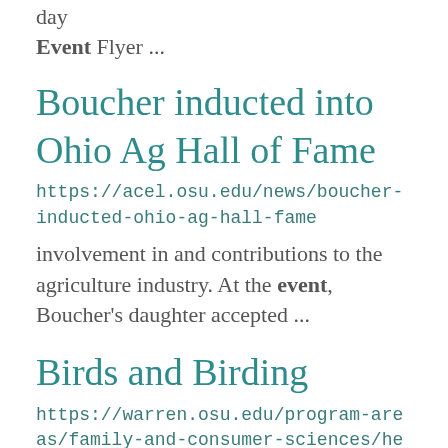day
Event Flyer ...
Boucher inducted into Ohio Ag Hall of Fame
https://acel.osu.edu/news/boucher-inducted-ohio-ag-hall-fame
involvement in and contributions to the agriculture industry. At the event, Boucher's daughter accepted ...
Birds and Birding
https://warren.osu.edu/program-areas/family-and-consumer-sciences/healthy-people/nature-matters/birds-and-birding
how adopting a few basic principles can